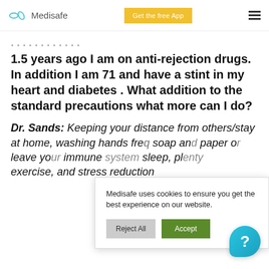Medisafe | Get the free App
1.5 years ago I am on anti-rejection drugs. In addition I am 71 and have a stint in my heart and diabetes . What addition to the standard precautions what more can I do?
Dr. Sands: Keeping your distance from others/stay at home, washing hands fre... soap an... paper or... leave yo... immune... sleep, pl... exercise, and stress reduction
Medisafe uses cookies to ensure you get the best experience on our website.